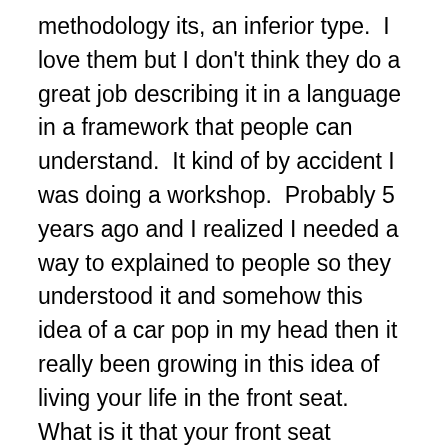methodology its, an inferior type.  I love them but I don't think they do a great job describing it in a language in a framework that people can understand.  It kind of by accident I was doing a workshop.  Probably 5 years ago and I realized I needed a way to explained to people so they understood it and somehow this idea of a car pop in my head then it really been growing in this idea of living your life in the front seat.  What is it that your front seat imagines yourself driving across the country and there are 4 passengers in the car?  The two people in the front are the driver and the co-pilot, your driver is in charge of your car.  They see the directions where you are going they are inside the car, they decide how fast to go, turning and they have a vision of where you're going.  You're driver is